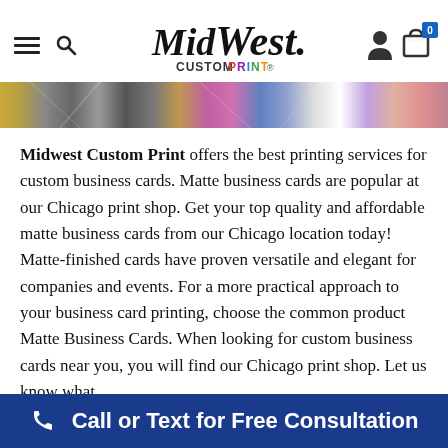Midwest Custom Print — navigation header with hamburger menu, search icon, logo, person icon, and cart icon with badge 0
[Figure (photo): A blurred horizontal motion-blur banner image showing streaks of color — yellow, grey, pink, blue, white — suggesting high-speed printing.]
Midwest Custom Print offers the best printing services for custom business cards. Matte business cards are popular at our Chicago print shop. Get your top quality and affordable matte business cards from our Chicago location today! Matte-finished cards have proven versatile and elegant for companies and events. For a more practical approach to your business card printing, choose the common product Matte Business Cards. When looking for custom business cards near you, you will find our Chicago print shop. Let us know what
Call or Text for Free Consultation